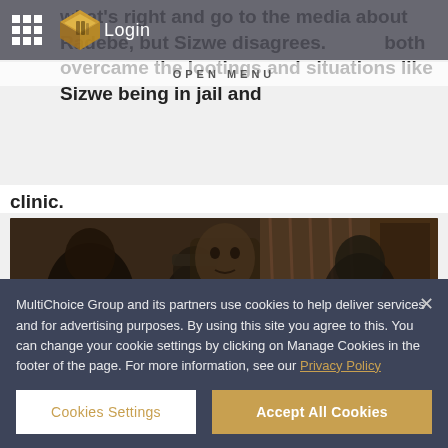what's right and go to the media about Radebe, but Sizwe disagrees. [logo] both overcame the lootings and situations like Sizwe being in jail and [obscured text] clinic.
OPEN MENU
Login
[Figure (screenshot): Video thumbnail showing a man in a room with other people, with a play button overlay — appears to be a film or TV show clip]
MultiChoice Group and its partners use cookies to help deliver services and for advertising purposes. By using this site you agree to this. You can change your cookie settings by clicking on Manage Cookies in the footer of the page. For more information, see our Privacy Policy
Cookies Settings
Accept All Cookies